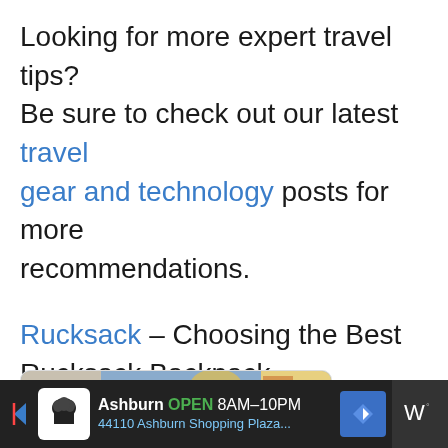Looking for more expert travel tips? Be sure to check out our latest travel gear and technology posts for more recommendations.
Rucksack – Choosing the Best Rucksack Backpack
Related Posts:
[Figure (photo): Photo of a young man with blonde hair wearing aviator sunglasses and a dark jacket, standing outdoors]
Ashburn OPEN 8AM–10PM 44110 Ashburn Shopping Plaza...